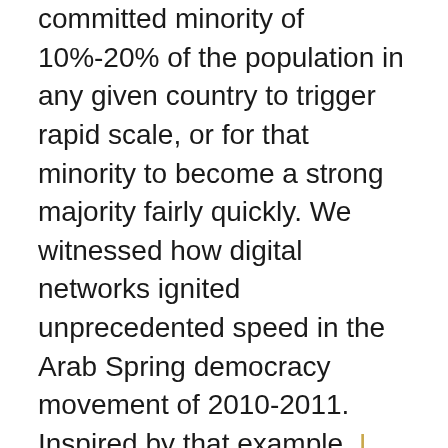committed minority of 10%-20% of the population in any given country to trigger rapid scale, or for that minority to become a strong majority fairly quickly. We witnessed how digital networks ignited unprecedented speed in the Arab Spring democracy movement of 2010-2011. Inspired by that example, I applied it to climate and called it Global Spring.

Since this is a hyper-local strategy, it will help to recruit a local Paul Polman in cities around the world, or that leader of leaders who runs an